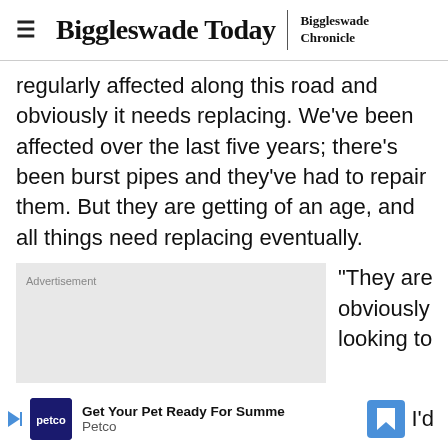Biggleswade Today | Biggleswade Chronicle
regularly affected along this road and obviously it needs replacing. We've been affected over the last five years; there's been burst pipes and they've had to repair them. But they are getting of an age, and all things need replacing eventually.
[Figure (other): Advertisement placeholder box]
"They are obviously looking to
Get Your Pet Ready For Summer Petco I'd